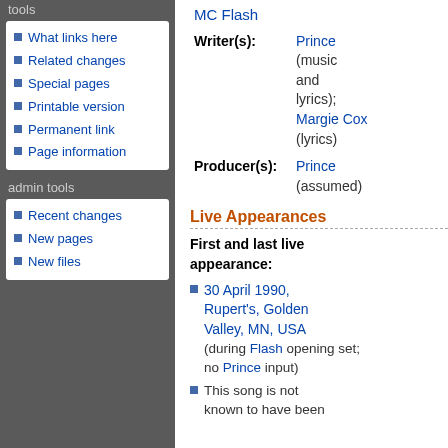tools
What links here
Related changes
Special pages
Printable version
Permanent link
Page information
admin tools
Recent changes
New pages
New files
MC Flash
| Label | Value |
| --- | --- |
| Writer(s): | Prince (music and lyrics); Margie Cox (lyrics) |
| Producer(s): | Prince (assumed) |
Live Appearances
First and last live appearance:
30 April 1990, Rupert's, Golden Valley, MN, USA (during Flash opening set; no Prince input)
This song is not known to have been